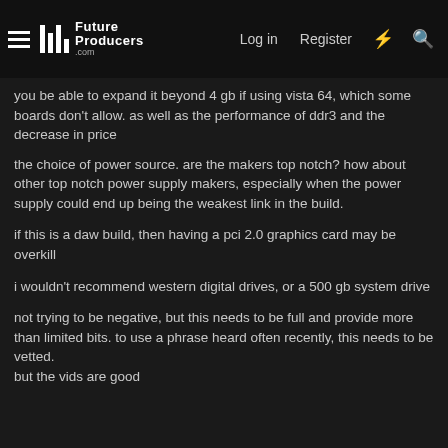Future Producers .com — Log in | Register
you be able to expand it beyond 4 gb if using vista 64, which some boards don't allow. as well as the performance of ddr3 and the decrease in price
the choice of power source. are the makers top notch? how about other top notch power supply makers, especially when the power supply could end up being the weakest link in the build.
if this is a daw build, then having a pci 2.0 graphics card may be overkill
i wouldn't recommend western digital drives, or a 500 gb system drive
not trying to be negative, but this needs to be full and provide more than limited bits. to use a phrase heard often recently, this needs to be vetted.
but the vids are good